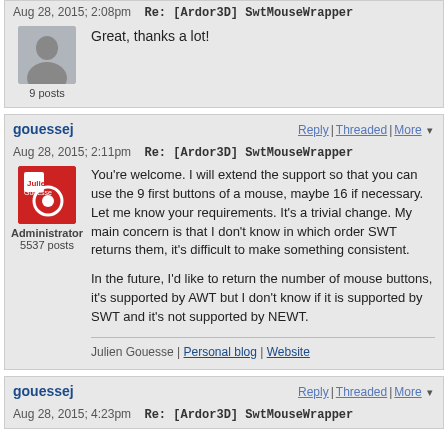Aug 28, 2015; 2:08pm   Re: [Ardor3D] SwtMouseWrapper
Great, thanks a lot!
9 posts
gouessej
Reply | Threaded | More
Aug 28, 2015; 2:11pm   Re: [Ardor3D] SwtMouseWrapper
Administrator
5537 posts
You're welcome. I will extend the support so that you can use the 9 first buttons of a mouse, maybe 16 if necessary. Let me know your requirements. It's a trivial change. My main concern is that I don't know in which order SWT returns them, it's difficult to make something consistent.

In the future, I'd like to return the number of mouse buttons, it's supported by AWT but I don't know if it is supported by SWT and it's not supported by NEWT.
Julien Gouesse | Personal blog | Website
gouessej
Reply | Threaded | More
Aug 28, 2015; 4:23pm   Re: [Ardor3D] SwtMouseWrapper